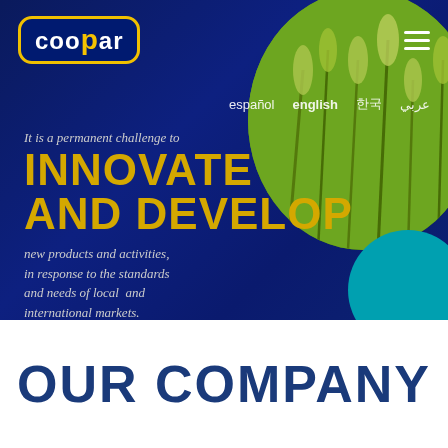[Figure (screenshot): Coopar company website screenshot showing dark blue hero banner with logo, navigation, language selector, headline text about innovation, circular rice/wheat image, and 'OUR COMPANY' heading below]
INNOVATE AND DEVELOP
It is a permanent challenge to
new products and activities, in response to the standards and needs of local and international markets.
OUR COMPANY